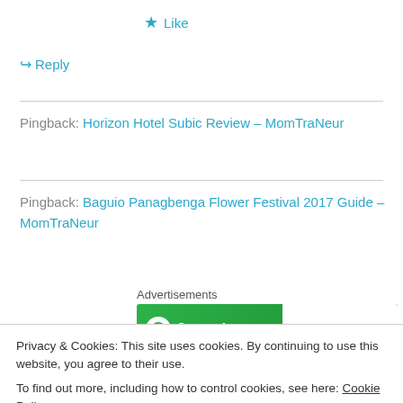★ Like
↪ Reply
Pingback: Horizon Hotel Subic Review – MomTraNeur
Pingback: Baguio Panagbenga Flower Festival 2017 Guide – MomTraNeur
Advertisements
[Figure (screenshot): Jetpack ad banner with green background showing logo and 'Back up your site' button]
Privacy & Cookies: This site uses cookies. By continuing to use this website, you agree to their use.
To find out more, including how to control cookies, see here: Cookie Policy
ballon fiesta.. Enjoy yourself ya!